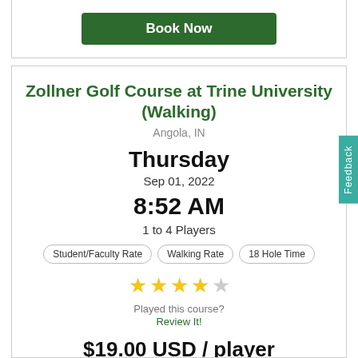Book Now
Zollner Golf Course at Trine University (Walking)
Angola, IN
Thursday
Sep 01, 2022
8:52 AM
1 to 4 Players
Student/Faculty Rate
Walking Rate
18 Hole Time
Played this course? Review It!
$19.00 USD / player
Book Now